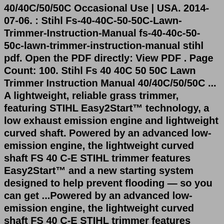40/40C/50/50C Occasional Use | USA. 2014-07-06. : Stihl Fs-40-40C-50-50C-Lawn-Trimmer-Instruction-Manual fs-40-40c-50-50c-lawn-trimmer-instruction-manual stihl pdf. Open the PDF directly: View PDF . Page Count: 100. Stihl Fs 40 40C 50 50C Lawn Trimmer Instruction Manual 40/40C/50/50C ... A lightweight, reliable grass trimmer, featuring STIHL Easy2Start™ technology, a low exhaust emission engine and lightweight curved shaft. Powered by an advanced low-emission engine, the lightweight curved shaft FS 40 C-E STIHL trimmer features Easy2Start™ and a new starting system designed to help prevent flooding — so you can get ...Powered by an advanced low-emission engine, the lightweight curved shaft FS 40 C-E STIHL trimmer features Easy2Start™ and a new starting system designed to help prevent flooding — so you can get started with fewer steps. High fuel efficiency, along with excellent balance, makes this trimmer comfortable on the wallet and in the yard.Powered by an advanced low-emission engine, the lightweight curved shaft FS 40 C-